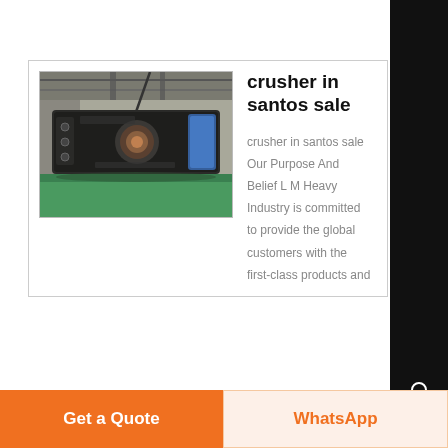[Figure (photo): Industrial crusher machine photographed in a factory/warehouse setting. The machine is large, dark-colored, mounted horizontally, with a circular opening/mechanism visible in the center. Green flooring visible below.]
crusher in santos sale
crusher in santos sale Our Purpose And Belief L M Heavy Industry is committed to provide the global customers with the first-class products and
Get a Quote
WhatsApp